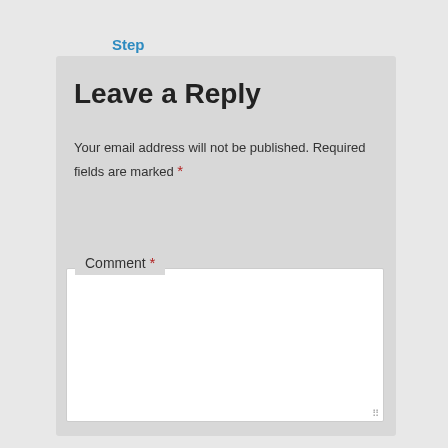Step Three: Editing Audio
Leave a Reply
Your email address will not be published. Required fields are marked *
Comment *